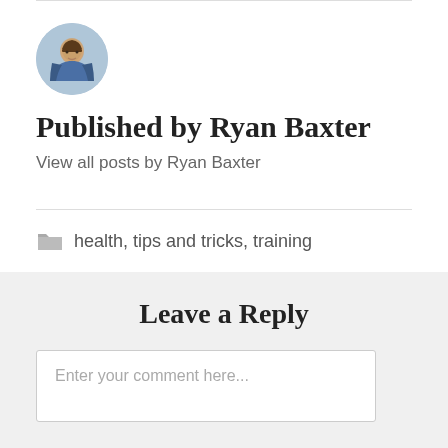[Figure (photo): Circular avatar photo of Ryan Baxter, a man in a suit outdoors]
Published by Ryan Baxter
View all posts by Ryan Baxter
health, tips and tricks, training
Leave a Reply
Enter your comment here...